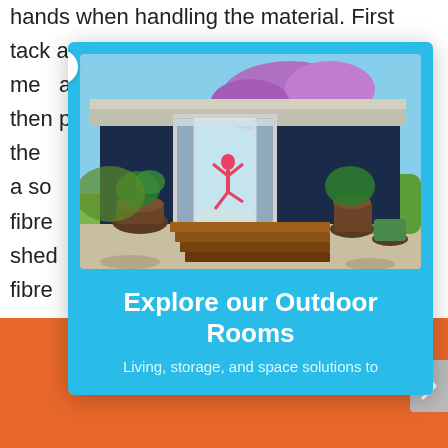hands when handling the material. First tack a breathable me  ape to the inner walls of the structure then place the  ith a so fibre your shed t, fibre prop
[Figure (photo): A modern dark-navy garden studio/outdoor room with floor-to-ceiling sliding glass doors. A woman in a pink top is visible inside doing yoga. Wooden deck steps lead up to the entrance, flanked by large terracotta pots with plants. A purple flowering jacaranda tree is visible in the background.]
Explore our Outdoor Rooms
Living, storage, and space solutions to